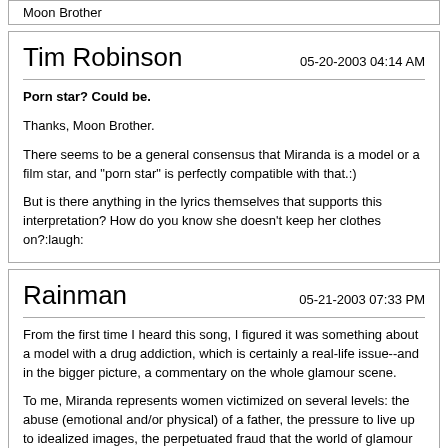Moon Brother
Tim Robinson
05-20-2003 04:14 AM
Porn star? Could be.
Thanks, Moon Brother.
There seems to be a general consensus that Miranda is a model or a film star, and "porn star" is perfectly compatible with that.:)
But is there anything in the lyrics themselves that supports this interpretation? How do you know she doesn't keep her clothes on?:laugh:
Rainman
05-21-2003 07:33 PM
From the first time I heard this song, I figured it was something about a model with a drug addiction, which is certainly a real-life issue--and in the bigger picture, a commentary on the whole glamour scene.
To me, Miranda represents women victimized on several levels: the abuse (emotional and/or physical) of a father, the pressure to live up to idealized images, the perpetuated fraud that the world of glamour is actually glamorous and, ultimately, Miranda's plunge into drugs to escape all of it.